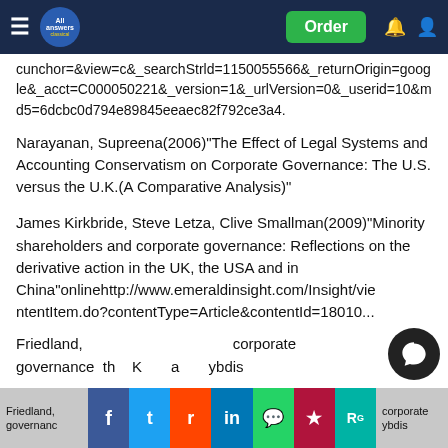All Answers Classical — navigation bar with Order button
cunchor=&view=c&_searchStrld=1150055566&_returnOrigin=google&_acct=C000050221&_version=1&_urlVersion=0&_userid=10&md5=6dcbc0d794e89845eeaec82f792ce3a4.
Narayanan, Supreena(2006)"The Effect of Legal Systems and Accounting Conservatism on Corporate Governance: The U.S. versus the U.K.(A Comparative Analysis)"
James Kirkbride, Steve Letza, Clive Smallman(2009)"Minority shareholders and corporate governance: Reflections on the derivative action in the UK, the USA and in China"onlinehttp://www.emeraldinsight.com/Insight/viewContentItem.do?contentType=Article&contentId=18010...
Friedland, ... corporate governance ... th ... K ... a ... ybdis
Social share bar: Facebook, Twitter, Reddit, LinkedIn, WhatsApp, Mendeley, ResearchGate